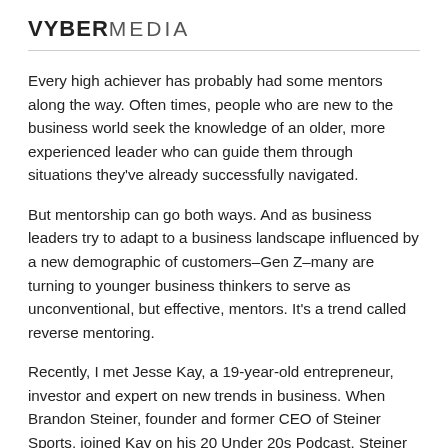VYBERMEDIA
Every high achiever has probably had some mentors along the way. Often times, people who are new to the business world seek the knowledge of an older, more experienced leader who can guide them through situations they've already successfully navigated.
But mentorship can go both ways. And as business leaders try to adapt to a business landscape influenced by a new demographic of customers–Gen Z–many are turning to younger business thinkers to serve as unconventional, but effective, mentors. It's a trend called reverse mentoring.
Recently, I met Jesse Kay, a 19-year-old entrepreneur, investor and expert on new trends in business. When Brandon Steiner, founder and former CEO of Steiner Sports, joined Kay on his 20 Under 20s Podcast, Steiner was